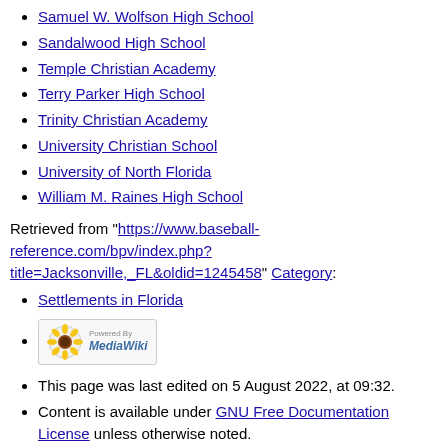Samuel W. Wolfson High School
Sandalwood High School
Temple Christian Academy
Terry Parker High School
Trinity Christian Academy
University Christian School
University of North Florida
William M. Raines High School
Retrieved from "https://www.baseball-reference.com/bpv/index.php?title=Jacksonville,_FL&oldid=1245458" Category:
Settlements in Florida
[Figure (logo): Powered by MediaWiki badge with sunflower icon]
This page was last edited on 5 August 2022, at 09:32.
Content is available under GNU Free Documentation License unless otherwise noted.
About the BR Bullpen
Disclaimers